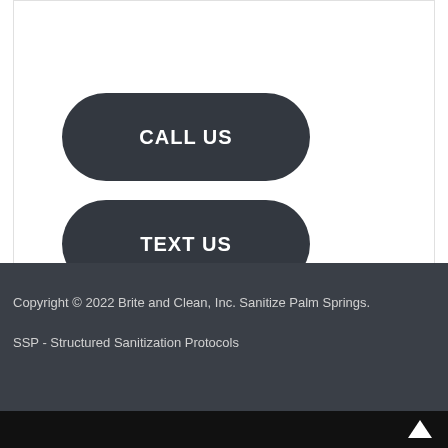[Figure (other): Dark rounded button labeled CALL US]
[Figure (other): Dark rounded button labeled TEXT US]
Copyright © 2022 Brite and Clean, Inc. Sanitize Palm Springs.
SSP - Structured Sanitization Protocols